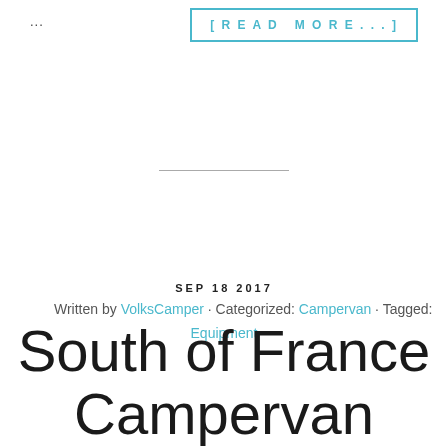...
[READ MORE...]
Written by VolksCamper · Categorized: Campervan · Tagged: Equipment
SEP 18 2017
South of France Campervan Road